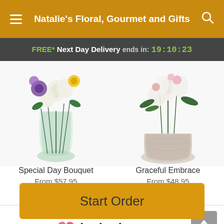Natalie's Floral, Gourmet and Gifts
FREE* Next Day Delivery ends in: 19:10:23
[Figure (photo): Left product: Special Day Bouquet - floral arrangement with purple, white and yellow flowers in a glass vase]
Special Day Bouquet
From $57.95
[Figure (photo): Right product: Graceful Embrace - white and pink flower arrangement in a round stone/concrete pot]
Graceful Embrace
From $48.95
[Figure (logo): POWERED BY lovingly logo with pink heart icon]
Start Order